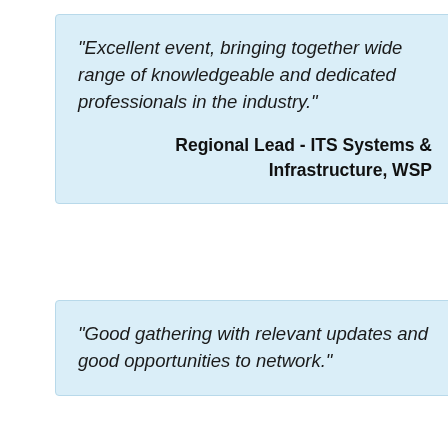"Excellent event, bringing together wide range of knowledgeable and dedicated professionals in the industry."
Regional Lead - ITS Systems & Infrastructure, WSP
"Good gathering with relevant updates and good opportunities to network."